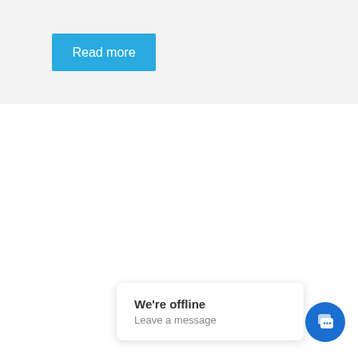[Figure (screenshot): A light gray section with a blue 'Read more' button in the upper-left area]
[Figure (screenshot): A white area occupying the lower portion of the page]
[Figure (infographic): A chat widget popup with 'We're offline' and 'Leave a message' text, alongside a circular blue chat icon button with chat bubble icon]